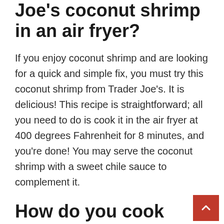Joe's coconut shrimp in an air fryer?
If you enjoy coconut shrimp and are looking for a quick and simple fix, you must try this coconut shrimp from Trader Joe's. It is delicious! This recipe is straightforward; all you need to do is cook it in the air fryer at 400 degrees Fahrenheit for 8 minutes, and you're done! You may serve the coconut shrimp with a sweet chile sauce to complement it.
How do you cook Costco coconut shrimp?
Instructions for Preparation